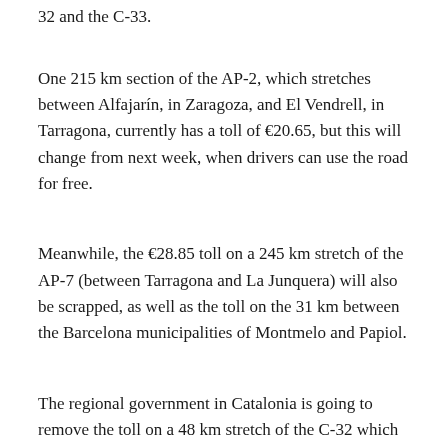32 and the C-33.
One 215 km section of the AP-2, which stretches between Alfajarín, in Zaragoza, and El Vendrell, in Tarragona, currently has a toll of €20.65, but this will change from next week, when drivers can use the road for free.
Meanwhile, the €28.85 toll on a 245 km stretch of the AP-7 (between Tarragona and La Junquera) will also be scrapped, as well as the toll on the 31 km between the Barcelona municipalities of Montmelo and Papiol.
The regional government in Catalonia is going to remove the toll on a 48 km stretch of the C-32 which connects